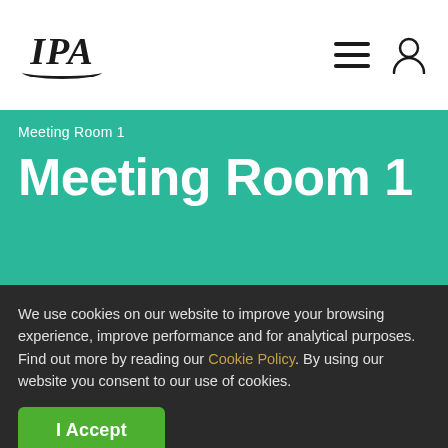IPA
Meeting Room 1
Meeting Room 1
We use cookies on our website to improve your browsing experience, improve performance and for analytical purposes. Find out more by reading our Cookie Policy. By using our website you consent to our use of cookies.
I Accept